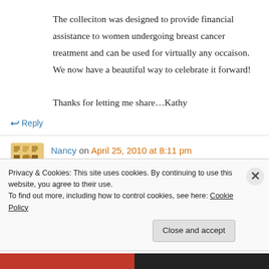The colleciton was designed to provide financial assistance to women undergoing breast cancer treatment and can be used for virtually any occaison. We now have a beautiful way to celebrate it forward!
Thanks for letting me share…Kathy
↪ Reply
Nancy on April 25, 2010 at 8:11 pm
Privacy & Cookies: This site uses cookies. By continuing to use this website, you agree to their use.
To find out more, including how to control cookies, see here: Cookie Policy
Close and accept